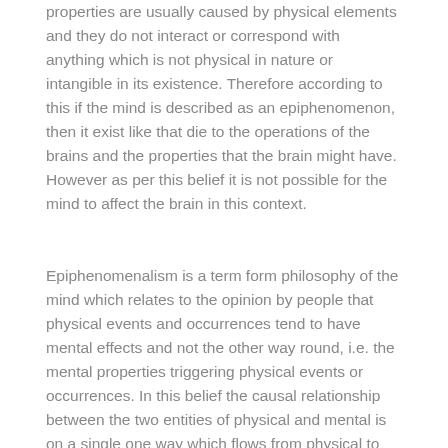properties are usually caused by physical elements and they do not interact or correspond with anything which is not physical in nature or intangible in its existence. Therefore according to this if the mind is described as an epiphenomenon, then it exist like that die to the operations of the brains and the properties that the brain might have. However as per this belief it is not possible for the mind to affect the brain in this context.
Epiphenomenalism is a term form philosophy of the mind which relates to the opinion by people that physical events and occurrences tend to have mental effects and not the other way round, i.e. the mental properties triggering physical events or occurrences. In this belief the causal relationship between the two entities of physical and mental is on a single one way which flows from physical to mental and not the other way round.